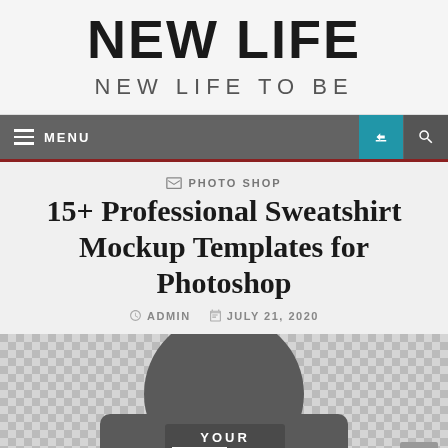NEW LIFE
NEW LIFE TO BE
≡ MENU
PHOTO SHOP
15+ Professional Sweatshirt Mockup Templates for Photoshop
ADMIN  JULY 21, 2020
[Figure (photo): A gray hoodie sweatshirt mockup on a transparent (checkered) background with text 'YOUR ART WORK' printed on the front.]